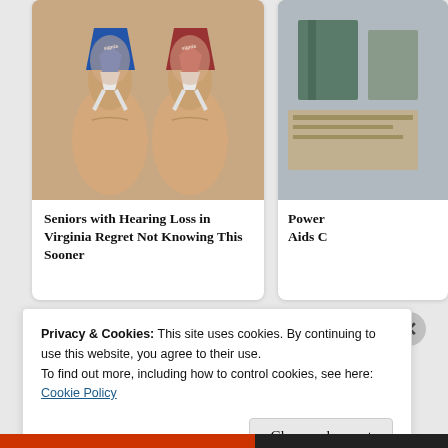[Figure (photo): Close-up photo of two hands holding small hearing aid devices, one blue (left) and one red (right), labeled 'Signia', with white Y-shaped tips]
Seniors with Hearing Loss in Virginia Regret Not Knowing This Sooner
[Figure (photo): Partially visible photo on right side, appears to show notebooks or binders]
Power Aids C
Privacy & Cookies: This site uses cookies. By continuing to use this website, you agree to their use.
To find out more, including how to control cookies, see here:
Cookie Policy
Close and accept